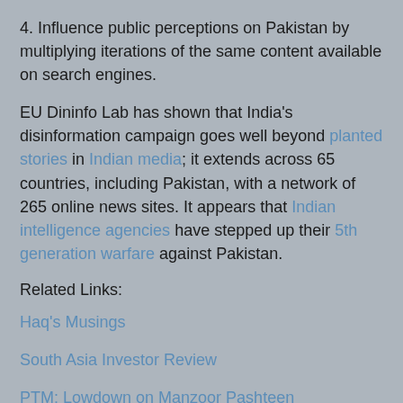4. Influence public perceptions on Pakistan by multiplying iterations of the same content available on search engines.
EU Dininfo Lab has shown that India's disinformation campaign goes well beyond planted stories in Indian media; it extends across 65 countries, including Pakistan, with a network of 265 online news sites. It appears that Indian intelligence agencies have stepped up their 5th generation warfare against Pakistan.
Related Links:
Haq's Musings
South Asia Investor Review
PTM: Lowdown on Manzoor Pashteen
East Pakistan "Genocide" Headline
Ex Indian Spy On RAW's Successes Against Pakistan